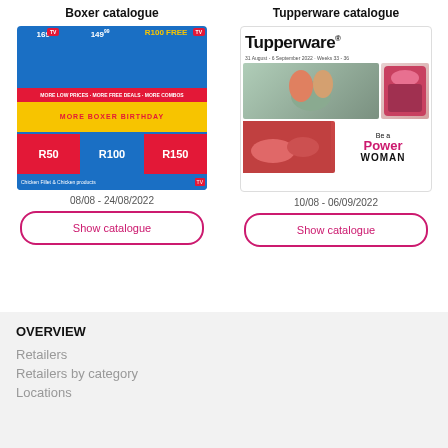Boxer catalogue
Tupperware catalogue
[Figure (photo): Boxer supermarket promotional catalogue cover with colorful deals including 169.99, 149.99, R100 Free, More Boxer Birthday, More Low Prices, More Free Deals, More Combos, R50, R100, R150 vouchers]
[Figure (photo): Tupperware catalogue cover showing Tupperware logo with date 31 August - 6 September 2022 Weeks 33-36, photos of people and red Tupperware products, Be a Power WOMAN text]
08/08 - 24/08/2022
10/08 - 06/09/2022
Show catalogue
Show catalogue
OVERVIEW
Retailers
Retailers by category
Locations